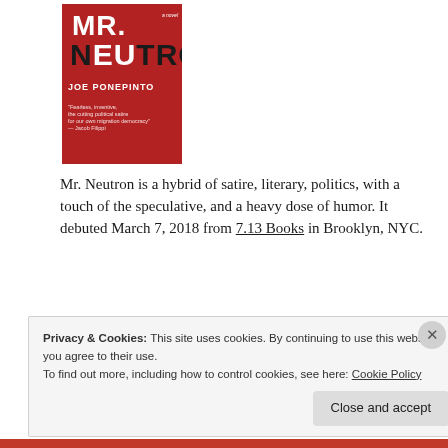[Figure (illustration): Book cover of 'Mr. Neutron' by Joe Ponepinto — red background with large white and black text, author name in white, small blurb text at bottom]
Mr. Neutron is a hybrid of satire, literary, politics, with a touch of the speculative, and a heavy dose of humor. It debuted March 7, 2018 from 7.13 Books in Brooklyn, NYC.
[Figure (logo): Amazon.com 'Buy It Now At amazon.com' button — dark/black rounded rectangle with amazon logo and smile arrow]
Privacy & Cookies: This site uses cookies. By continuing to use this website, you agree to their use.
To find out more, including how to control cookies, see here: Cookie Policy
Close and accept